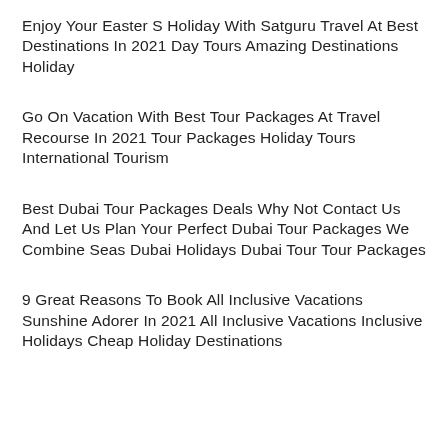Enjoy Your Easter S Holiday With Satguru Travel At Best Destinations In 2021 Day Tours Amazing Destinations Holiday
Go On Vacation With Best Tour Packages At Travel Recourse In 2021 Tour Packages Holiday Tours International Tourism
Best Dubai Tour Packages Deals Why Not Contact Us And Let Us Plan Your Perfect Dubai Tour Packages We Combine Seas Dubai Holidays Dubai Tour Tour Packages
9 Great Reasons To Book All Inclusive Vacations Sunshine Adorer In 2021 All Inclusive Vacations Inclusive Holidays Cheap Holiday Destinations